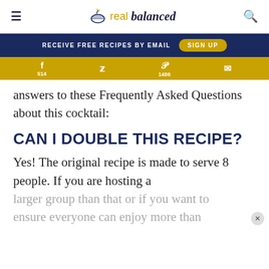real balanced
RECEIVE FREE RECIPES BY EMAIL   SIGN UP
f 514   Twitter   P 1486   Email
answers to these Frequently Asked Questions about this cocktail:
CAN I DOUBLE THIS RECIPE?
Yes! The original recipe is made to serve 8 people. If you are hosting a larger group than that or if you want to ensure everyone can enjoy more than